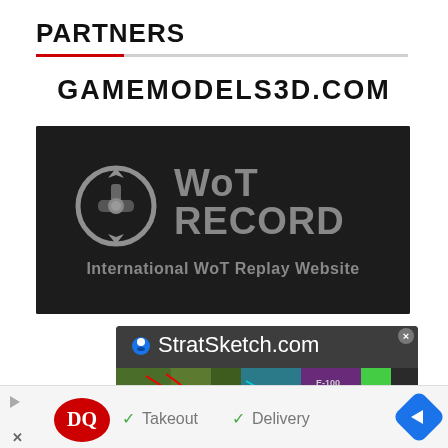PARTNERS
GAMEMODELS3D.COM
[Figure (photo): WoT RECORD banner — dark leather texture background with metallic circular WoT tank icon logo and bold text 'WoT RECORD' and subtitle 'International WoT Replay Website']
[Figure (screenshot): StratSketch.com banner — dark background with blue map pin icon, text 'StratSketch.com', and a colorful strategy map image below]
[Figure (photo): Advertisement bar showing Dairy Queen (DQ) logo with checkmarks and text 'Takeout' and 'Delivery', play button, close X, and navigation arrow icon]